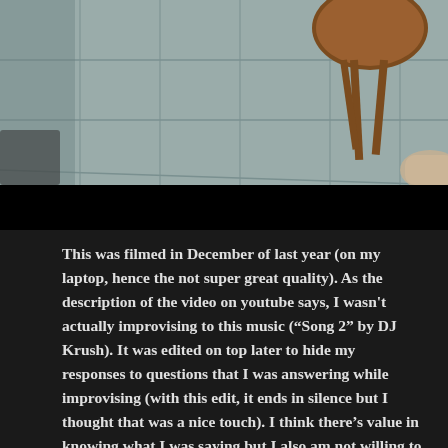[Figure (photo): Top portion of a video/photo showing a tiled floor with a wooden stool and what appears to be a person or animal partially visible at the bottom right. Below the photo is a black bar (possibly a video player control bar).]
This was filmed in December of last year (on my laptop, hence the not super great quality). As the description of the video on youtube says, I wasn't actually improvising to this music (“Song 2” by DJ Krush). It was edited on top later to hide my responses to questions that I was answering while improvising (with this edit, it ends in silence but I thought that was a nice touch). I think there’s value in knowing what I was saying but I also am not willing to share my inner self with whoever stumbles upon this post. I will, however, be posting more